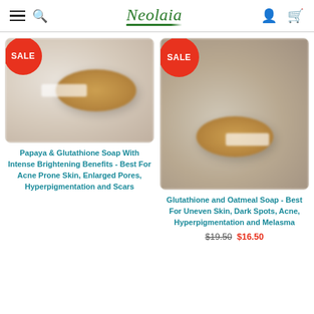Neolaia
[Figure (photo): Photo of Papaya & Glutathione soap bar with blurred background, SALE badge overlay]
Papaya & Glutathione Soap With Intense Brightening Benefits - Best For Acne Prone Skin, Enlarged Pores, Hyperpigmentation and Scars
[Figure (photo): Photo of Glutathione and Oatmeal soap bar with blurred background, SALE badge overlay]
Glutathione and Oatmeal Soap - Best For Uneven Skin, Dark Spots, Acne, Hyperpigmentation and Melasma
$19.50  $16.50